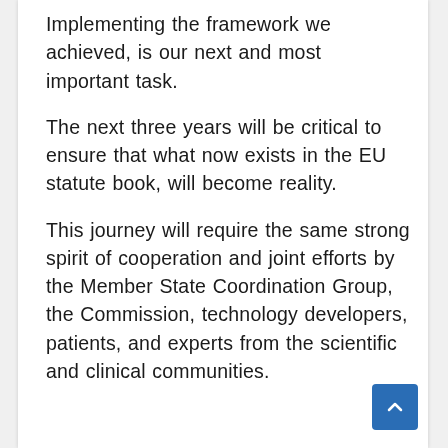Implementing the framework we achieved, is our next and most important task.
The next three years will be critical to ensure that what now exists in the EU statute book, will become reality.
This journey will require the same strong spirit of cooperation and joint efforts by the Member State Coordination Group, the Commission, technology developers, patients, and experts from the scientific and clinical communities.